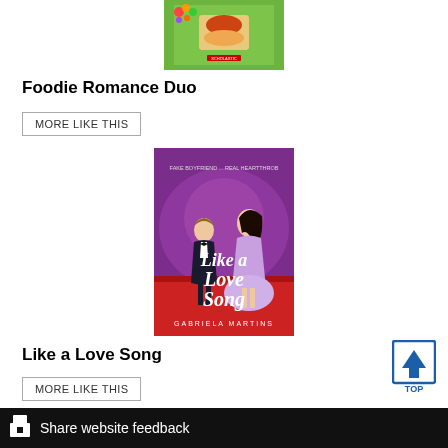[Figure (photo): Book cover for Foodie Romance Duo, partially visible at top]
Foodie Romance Duo
MORE LIKE THIS
[Figure (photo): Book cover for Like a Love Song by Gabriela Martins, showing a boy in tuxedo and girl in purple dress on a red carpet background with title in script font]
Like a Love Song
MORE LIKE THIS
Share website feedback